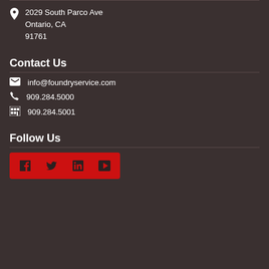2029 South Parco Ave
Ontario, CA
91761
Contact Us
info@foundryservice.com
909.284.5000
909.284.5001
Follow Us
[Figure (other): Social media icons bar with Facebook, Twitter, LinkedIn, and YouTube icons on red background]